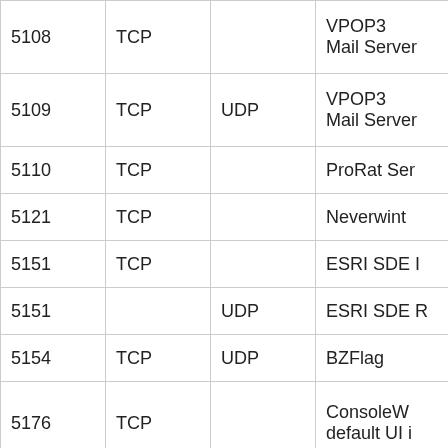| Port | TCP | UDP | Description |
| --- | --- | --- | --- |
| 5108 | TCP |  | VPOP3 Mail Server |
| 5109 | TCP | UDP | VPOP3 Mail Server |
| 5110 | TCP |  | ProRat Ser |
| 5121 | TCP |  | Neverwint |
| 5151 | TCP |  | ESRI SDE I |
| 5151 |  | UDP | ESRI SDE R |
| 5154 | TCP | UDP | BZFlag |
| 5176 | TCP |  | ConsoleW default UI i |
| 5190 | TCP |  | ICQ and AOL Ir |